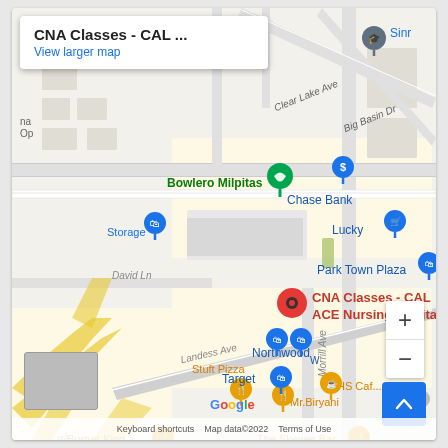[Figure (map): Google Maps screenshot showing CNA Classes - CAL ACE Nursing Milpitas location in Milpitas, CA. Map shows surrounding streets including Landess Ave, Morrill Ave, David Ln, Clear Lake Ave, Big Basin Dr. Nearby places include Bowlero Milpitas, Chase Bank, Lucky, Park Town Plaza, Storage, Stuft Pizza, Mr. Biryani, The Skewer Bar, Burger King, Northwood, Target, HS Cafe. Red pin marks CNA Classes - CAL ACE Nursing Milpitas. Info panel at top left shows title and View larger map link. Map controls (zoom +/-) and scroll-to-top button visible.]
Keyboard shortcuts   Map data©2022   Terms of Use